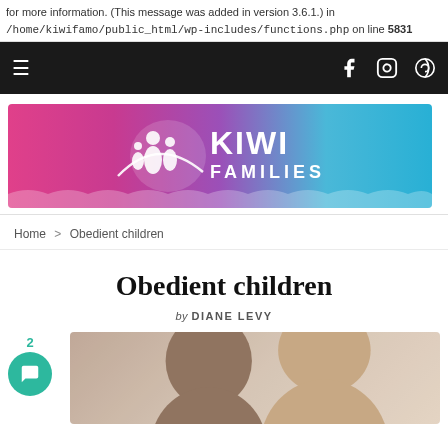for more information. (This message was added in version 3.6.1.) in /home/kiwifamo/public_html/wp-includes/functions.php on line 5831
[Figure (screenshot): Dark navigation bar with hamburger menu on left and social media icons (Facebook, Instagram, Pinterest) on right]
[Figure (logo): Kiwi Families banner logo with pink to blue gradient background and white KIWI FAMILIES text with family silhouette]
Home > Obedient children
Obedient children
by DIANE LEVY
[Figure (photo): Photo of two people, appears to be a parent and child smiling, partially cropped at bottom of page. Comment button with count 2 visible on left.]